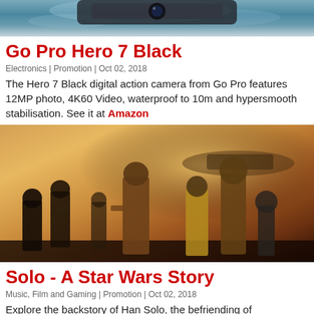[Figure (photo): Top portion of a GoPro Hero 7 Black camera partially submerged in water, showing water splashing]
Go Pro Hero 7 Black
Electronics | Promotion | Oct 02, 2018
The Hero 7 Black digital action camera from Go Pro features 12MP photo, 4K60 Video, waterproof to 10m and hypersmooth stabilisation. See it at Amazon
[Figure (photo): Movie promotional image for Solo: A Star Wars Story showing Han Solo and other characters standing together]
Solo - A Star Wars Story
Music, Film and Gaming | Promotion | Oct 02, 2018
Explore the backstory of Han Solo, the befriending of